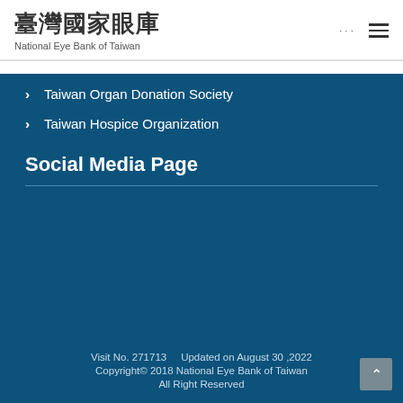臺灣國家眼庫 National Eye Bank of Taiwan
Taiwan Organ Donation Society
Taiwan Hospice Organization
Social Media Page
Visit No. 271713    Updated on August 30 ,2022
Copyright© 2018 National Eye Bank of Taiwan
All Right Reserved